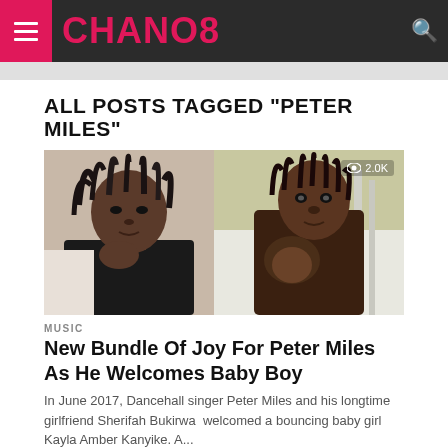CHANO8
ALL POSTS TAGGED "PETER MILES"
[Figure (photo): Split photo: left side shows a man with dreadlocks, right side shows a woman holding a newborn baby. View count badge shows 2.0K.]
MUSIC
New Bundle Of Joy For Peter Miles As He Welcomes Baby Boy
In June 2017, Dancehall singer Peter Miles and his longtime girlfriend Sherifah Bukirwa  welcomed a bouncing baby girl Kayla Amber Kanyike. A...